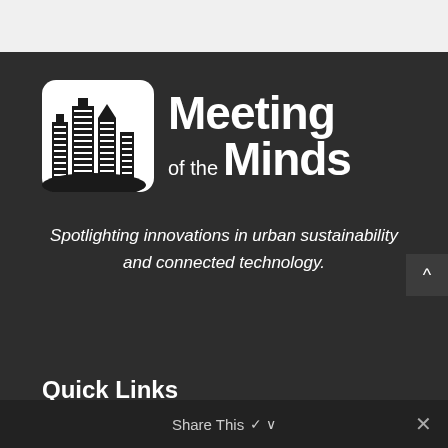[Figure (logo): Meeting of the Minds logo — white rounded-square icon with stylized city skyline silhouette in black, next to bold white text reading 'Meeting of the Minds']
Spotlighting innovations in urban sustainability and connected technology.
Quick Links
Meeting of the Minds Connect
Share This ∨  ×